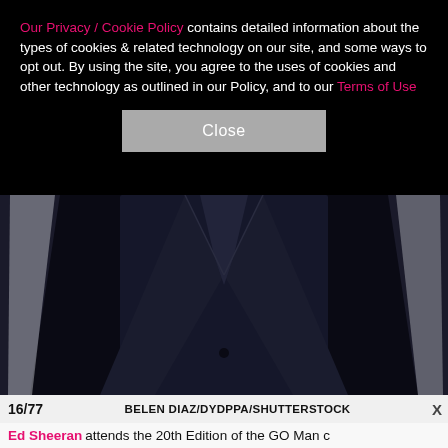Our Privacy / Cookie Policy contains detailed information about the types of cookies & related technology on our site, and some ways to opt out. By using the site, you agree to the uses of cookies and other technology as outlined in our Policy, and to our Terms of Use
Close
[Figure (photo): A person wearing a dark navy/black suit jacket, torso shot against a dark background]
16/77   BELEN DIAZ/DYDPPA/SHUTTERSTOCK   X
Ed Sheeran attends the 20th Edition of the GO Man c
[Figure (infographic): SHE Partner Network advertisement banner: Earning site & social revenue, Traffic growth, Speaking on our stages. LEARN MORE / BECOME A MEMBER]